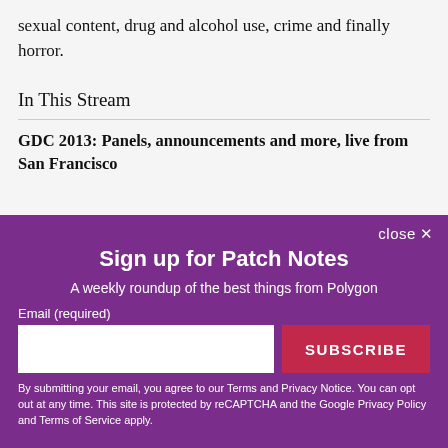sexual content, drug and alcohol use, crime and finally horror.
In This Stream
GDC 2013: Panels, announcements and more, live from San Francisco
Sign up for Patch Notes
A weekly roundup of the best things from Polygon
Email (required)
SUBSCRIBE
By submitting your email, you agree to our Terms and Privacy Notice. You can opt out at any time. This site is protected by reCAPTCHA and the Google Privacy Policy and Terms of Service apply.